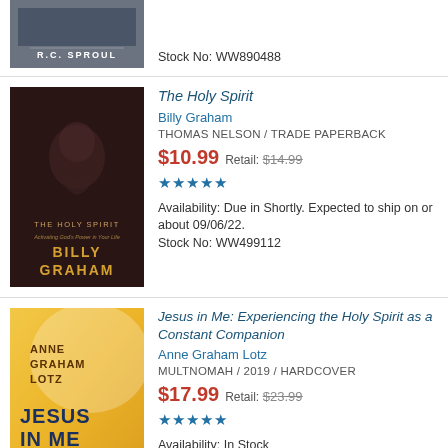[Figure (photo): Partial book cover for R.C. Sproul title, dark gray background with author name]
Stock No: WW890488
[Figure (photo): Book cover for The Holy Spirit by Billy Graham, dark background with man praying]
The Holy Spirit
Billy Graham
THOMAS NELSON / TRADE PAPERBACK
$10.99 Retail: $14.99
★★★★★
Availability: Due in Shortly. Expected to ship on or about 09/06/22.
Stock No: WW499112
[Figure (photo): Book cover for Jesus in Me by Anne Graham Lotz, golden yellow background]
Jesus in Me: Experiencing the Holy Spirit as a Constant Companion
Anne Graham Lotz
MULTNOMAH / 2019 / HARDCOVER
$17.99 Retail: $23.99
★★★★★
Availability: In Stock